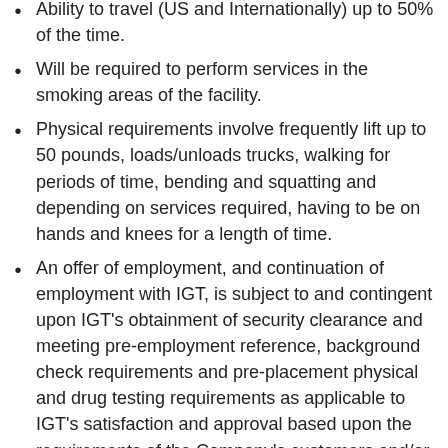Ability to travel (US and Internationally) up to 50% of the time.
Will be required to perform services in the smoking areas of the facility.
Physical requirements involve frequently lift up to 50 pounds, loads/unloads trucks, walking for periods of time, bending and squatting and depending on services required, having to be on hands and knees for a length of time.
An offer of employment, and continuation of employment with IGT, is subject to and contingent upon IGT's obtainment of security clearance and meeting pre-employment reference, background check requirements and pre-placement physical and drug testing requirements as applicable to IGT's satisfaction and approval based upon the requirements of the Company's customers and/or regulators. Certain jurisdictions may require additional personal disclosures which may include, but not limited to, personal financial records,